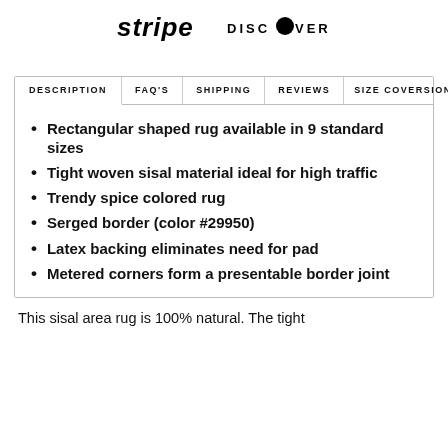[Figure (logo): Stripe and Discover payment logos displayed side by side at the top of the page]
DESCRIPTION | FAQ'S | SHIPPING | REVIEWS | SIZE COVERSION
Rectangular shaped rug available in 9 standard sizes
Tight woven sisal material ideal for high traffic
Trendy spice colored rug
Serged border (color #29950)
Latex backing eliminates need for pad
Metered corners form a presentable border joint
This sisal area rug is 100% natural. The tight